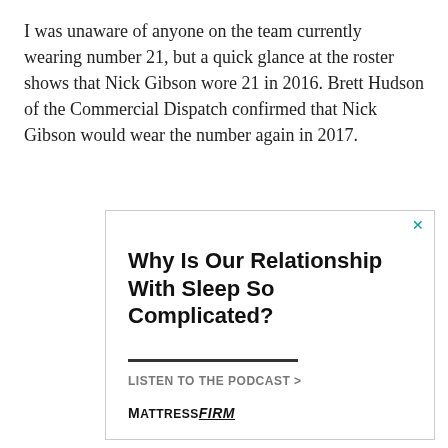I was unaware of anyone on the team currently wearing number 21, but a quick glance at the roster shows that Nick Gibson wore 21 in 2016. Brett Hudson of the Commercial Dispatch confirmed that Nick Gibson would wear the number again in 2017.
[Figure (other): Advertisement banner for Mattress Firm podcast. Headline: 'Why Is Our Relationship With Sleep So Complicated?' with a call to action 'LISTEN TO THE PODCAST >' and MattressFirm branding at the bottom. Has a teal X close button in the top right corner.]